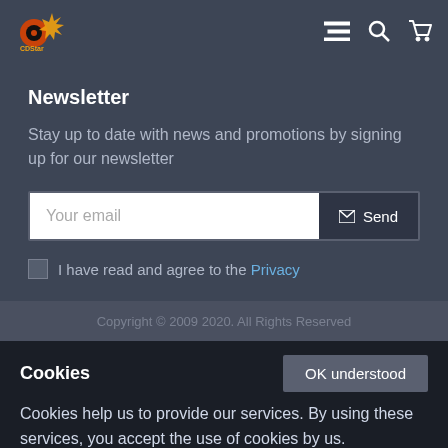CDStar navigation header with logo and icons (hamburger, search, cart)
Newsletter
Stay up to date with news and promotions by signing up for our newsletter
Your email [Send button]
I have read and agree to the Privacy
Copyright © 2009 2020. All Rights Reserved
Cookies
Cookies help us to provide our services. By using these services, you accept the use of cookies by us.
information